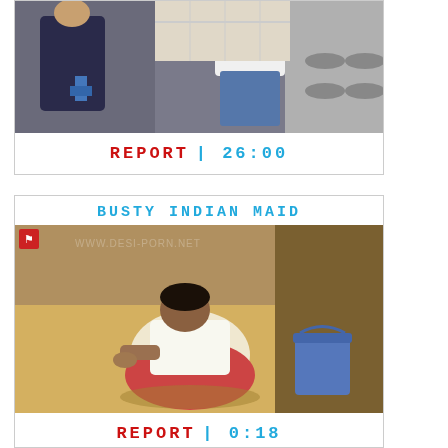[Figure (photo): Two people in a kitchen scene, one in a dark shirt holding a spray bottle, one in a white top and jeans near a stove]
REPORT | 26:00
BUSTY INDIAN MAID
[Figure (photo): A woman crouching on a floor cleaning, wearing a white top and pink/red clothing, with a blue bucket nearby]
REPORT | 0:18